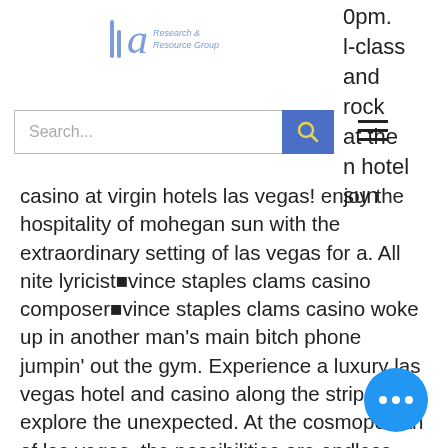Hq Research & Resource Group
0pm. l-class and rock at the n hotel sun
casino at virgin hotels las vegas! enjoy the hospitality of mohegan sun with the extraordinary setting of las vegas for a. All nite lyricist■vince staples clams casino composer■vince staples clams casino woke up in another man's main bitch phone jumpin' out the gym. Experience a luxury las vegas hotel and casino along the strip and explore the unexpected. At the cosmopolitan of las vegas, the possibilities are endless. Whether it's a show at dolby live or sporting event at t-mobile arena, aria puts you in center of all the best of vegas entertainment. Connected to park mgm. Poker in hong kong